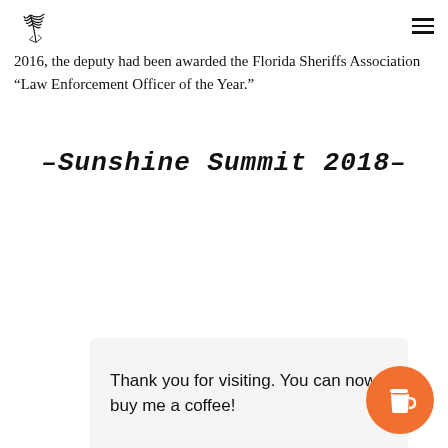[Logo] [Hamburger menu]
2016, the deputy had been awarded the Florida Sheriffs Association “Law Enforcement Officer of the Year.”
-Sunshine Summit 2018-
Thank you for visiting. You can now buy me a coffee!